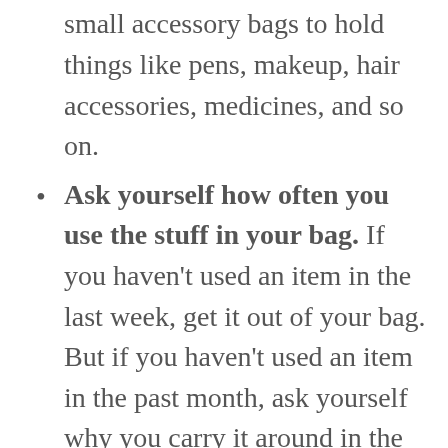medicine, some makeup and your sunglasses. If you've still got a lot of stuff that would cause the clutter to return, use small accessory bags to hold things like pens, makeup, hair accessories, medicines, and so on.
Ask yourself how often you use the stuff in your bag. If you haven't used an item in the last week, get it out of your bag. But if you haven't used an item in the past month, ask yourself why you carry it around in the first place. This includes keys to places you no longer go to, makeup that you hardly ever use or pens that might not even work anymore. Cards in large numbers can also add weight to your bag, so check which cards are useful and which ones are expired and need to be thrown away. You don't always